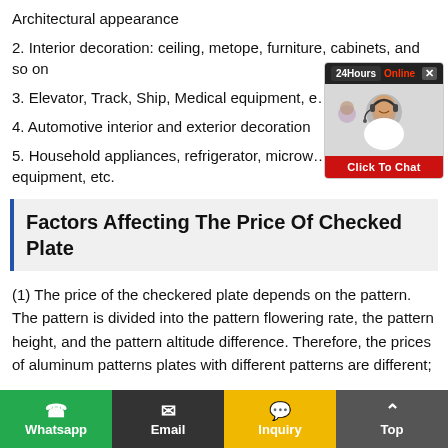Architectural appearance
2. Interior decoration: ceiling, metope, furniture, cabinets, and so on
3. Elevator, Track, Ship, Medical equipment, e…
4. Automotive interior and exterior decoration
5. Household appliances, refrigerator, microwave, audio equipment, etc.
Factors Affecting The Price Of Checked Plate
(1) The price of the checkered plate depends on the pattern. The pattern is divided into the pattern flowering rate, the pattern height, and the pattern altitude difference. Therefore, the prices of aluminum patterns plates with different patterns are different;
[Figure (photo): Live chat widget showing a customer service representative with headset, '24Hours Online' banner and 'Click To Chat' button]
Whatsapp | Email | Inquiry | Top